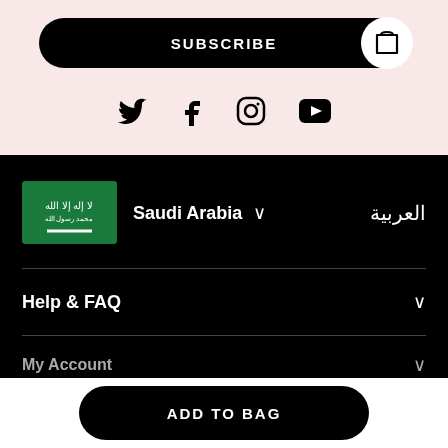SUBSCRIBE
[Figure (illustration): Social media icons: Twitter, Facebook, Instagram, YouTube]
[Figure (illustration): Saudi Arabia flag icon and country selector with Arabic language toggle]
Saudi Arabia ∨
العربية
Help & FAQ
My Account
ADD TO BAG